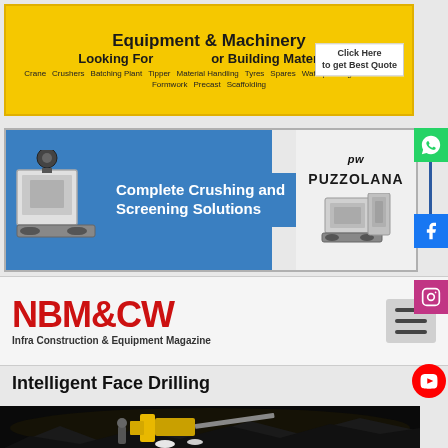[Figure (infographic): Yellow banner advertisement for Equipment & Machinery or Building Materials with text 'Looking For Equipment & Machinery or Building Materials' and 'Click Here to get Best Quote'. Tags: Crane, Crushers, Batching Plant, Tipper, Material Handling, Tyres, Spares, Waterproofing, Advertiser, Formwork, Yes, Precast, Scaffolding.]
[Figure (infographic): Blue banner for Puzzolana featuring 'Complete Crushing and Screening Solutions' with images of crushing/screening machinery on left and center, and Puzzolana logo on white right panel.]
[Figure (logo): NBM&CW logo - Infra Construction & Equipment Magazine in red bold text with tagline below, hamburger menu icon on right.]
Intelligent Face Drilling
[Figure (photo): Dark photograph of a yellow drilling machine/rig operating inside a tunnel or underground rock face environment with bright lights.]